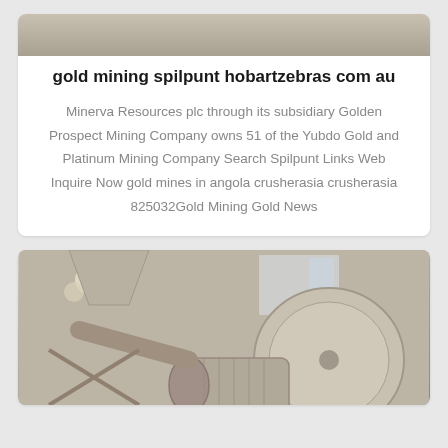[Figure (photo): Partial view of industrial mining equipment or machinery, cropped at top of page]
gold mining spilpunt hobartzebras com au
Minerva Resources plc through its subsidiary Golden Prospect Mining Company owns 51 of the Yubdo Gold and Platinum Mining Company Search Spilpunt Links Web Inquire Now gold mines in angola crusherasia crusherasia 825032Gold Mining Gold News
[Figure (photo): Industrial mining machinery — a large motor and fan/blower unit in a dusty facility interior]